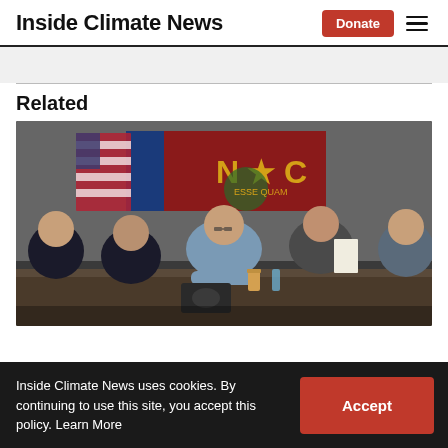Inside Climate News | Donate [button] ≡ [menu]
Related
[Figure (photo): People seated around a conference table in a meeting room with North Carolina state flag and US flag in background. A central figure in a light blue shirt sits at the head of the table; others are taking notes or reviewing papers.]
Inside Climate News uses cookies. By continuing to use this site, you accept this policy. Learn More